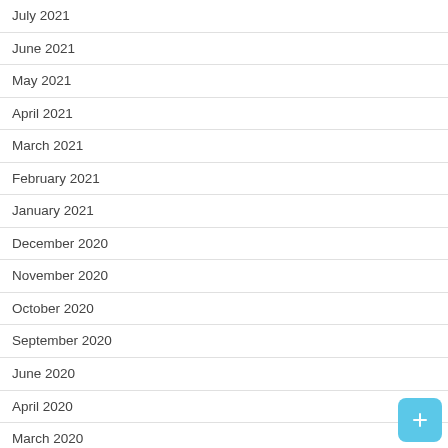July 2021
June 2021
May 2021
April 2021
March 2021
February 2021
January 2021
December 2020
November 2020
October 2020
September 2020
June 2020
April 2020
March 2020
January 2020